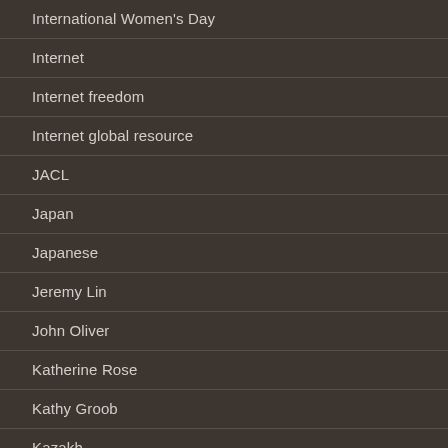International Women's Day
Internet
Internet freedom
Internet global resource
JACL
Japan
Japanese
Jeremy Lin
John Oliver
Katherine Rose
Kathy Groob
Kazakh